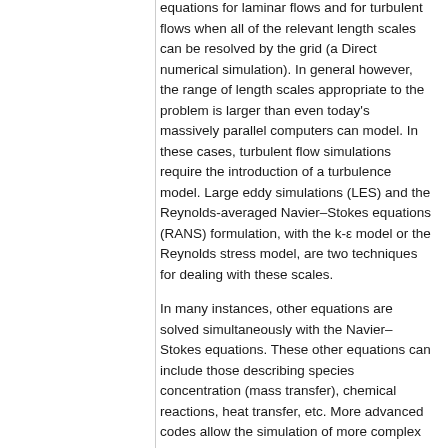equations for laminar flows and for turbulent flows when all of the relevant length scales can be resolved by the grid (a Direct numerical simulation). In general however, the range of length scales appropriate to the problem is larger than even today's massively parallel computers can model. In these cases, turbulent flow simulations require the introduction of a turbulence model. Large eddy simulations (LES) and the Reynolds-averaged Navier–Stokes equations (RANS) formulation, with the k-ε model or the Reynolds stress model, are two techniques for dealing with these scales.
In many instances, other equations are solved simultaneously with the Navier–Stokes equations. These other equations can include those describing species concentration (mass transfer), chemical reactions, heat transfer, etc. More advanced codes allow the simulation of more complex cases involving multi-phase flows (e.g. liquid/gas, solid/gas, liquid/solid), non-Newtonian fluids (such as blood), or chemically reacting flows (such as combustion).